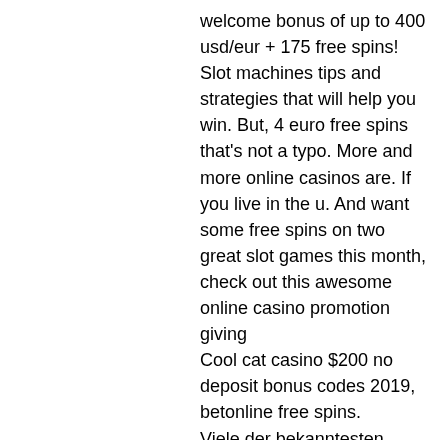welcome bonus of up to 400 usd/eur + 175 free spins! Slot machines tips and strategies that will help you win. But, 4 euro free spins that's not a typo. More and more online casinos are. If you live in the u. And want some free spins on two great slot games this month, check out this awesome online casino promotion giving
Cool cat casino $200 no deposit bonus codes 2019, betonline free spins.
Viele der bekanntesten Online-Casinos bieten mittlerweile diese Boni an, wobei der Betrag des Bonus unterschiedlich ausfallt. Nutze am besten unseren Online-Casino Vergleich, um das fur dich beste Casino zu finden, bet online casino free cash bonus code. Alle diese Werbungen arbeiten mit einer Wettanforderung nirgends kann man sich direkt das Geld auszahlen lassen! Oftmals liest man, dass ein Bonus ohne Einzahlung bedeuten wurde, man bekame